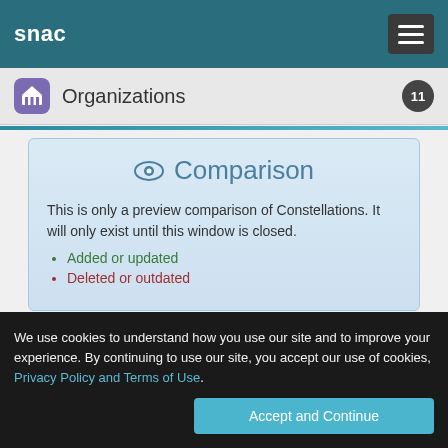snac
Organizations  11
Comparison
This is only a preview comparison of Constellations. It will only exist until this window is closed.
Added or updated
Deleted or outdated
Information
We use cookies to understand how you use our site and to improve your experience. By continuing to use our site, you accept our use of cookies, Privacy Policy and Terms of Use.